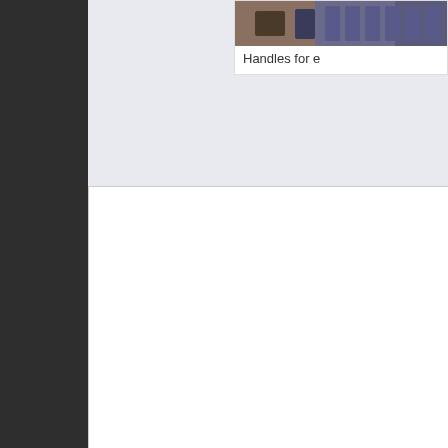[Figure (photo): Partial view of equipment with handles, shown in top-right corner card. Caption reads 'Handles for e' (truncated).]
Handles for e
[Figure (photo): Main figure card showing a partially white area on the left and a photo of exercise/gym equipment on the right, with cables and green mat visible.]
Place your headphones jack and you can sele